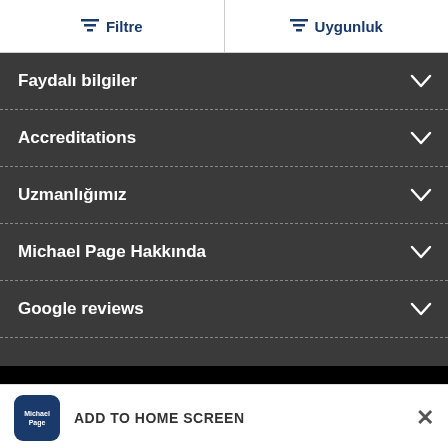Filtre | Uygunluk
Faydalı bilgiler
Accreditations
Uzmanlığımız
Michael Page Hakkında
Google reviews
ADD TO HOME SCREEN